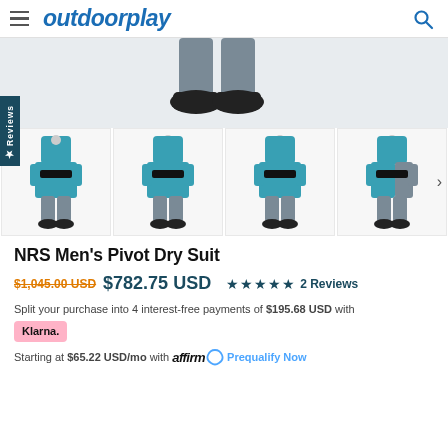outdoorplay
[Figure (photo): Product image area showing legs/feet of a person wearing an NRS dry suit with gray pants and black booties at top, and four thumbnail views of the full NRS Men's Pivot Dry Suit in teal/gray colorway]
NRS Men's Pivot Dry Suit
$1,045.00 USD  $782.75 USD  ★★★★★ 2 Reviews
Split your purchase into 4 interest-free payments of $195.68 USD with Klarna.
Starting at $65.22 USD/mo with affirm. Prequalify Now